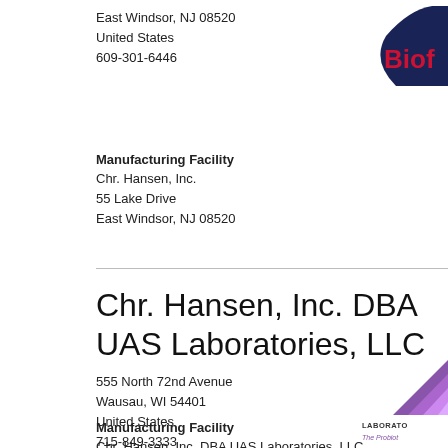East Windsor, NJ 08520
United States
609-301-6446
[Figure (logo): Biof... logo partial, dark navy arc with red Biof text, partially clipped at right edge]
Manufacturing Facility
Chr. Hansen, Inc.
55 Lake Drive
East Windsor, NJ 08520
Chr. Hansen, Inc. DBA UAS Laboratories, LLC
555 North 72nd Avenue
Wausau, WI 54401
United States
715-849-3333
[Figure (logo): UAS Laboratories logo partial: purple triangle/staircase graphic with text LABORATORIES and italic The Probiot... partially clipped at right]
Manufacturing Facility
Chr. Hansen, Inc. DBA UAS Laboratories, LLC